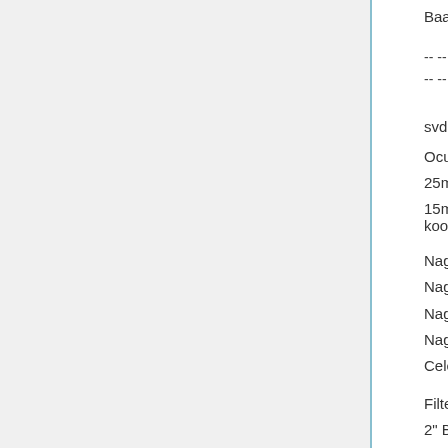Baader skyglow
-- -- -- -- -- -- -- -- -- -- -- -- -- -- -- -- -- -- -- --
-- -- -- --
svdr:
Oculairen en barlows:
25mm Celestron Plossl
15mm Meade S4000 superplossl (te koop)
Nagler 17T4
Nagler 12T4
Nagler 9T6
Nagler 5T6
Celestron Ultima 2x barlow
Filters en correctors:
2" Baader O-III
2" Astronomik UHCE
1.25" Lumicon O-III met H-a doorlaat
2" Omega Optical NPB filter
Diversen: